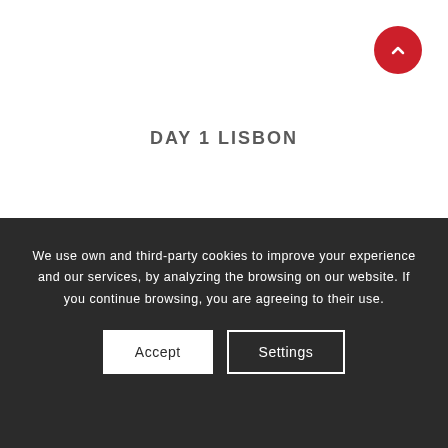[Figure (other): Red circular scroll-to-top button with upward chevron arrow, positioned in top-right corner]
DAY 1 LISBON
We use own and third-party cookies to improve your experience and our services, by analyzing the browsing on our website. If you continue browsing, you are agreeing to their use.
Accept   Settings
LISBON